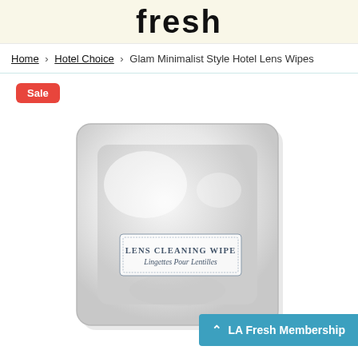fresh
Home › Hotel Choice › Glam Minimalist Style Hotel Lens Wipes
Sale
[Figure (photo): Lens cleaning wipe product packet — a square foil/plastic pouch in light grey/white with a label reading 'LENS CLEANING WIPE / Lingettes Pour Lentilles' in a decorative bordered rectangle]
LA Fresh Membership